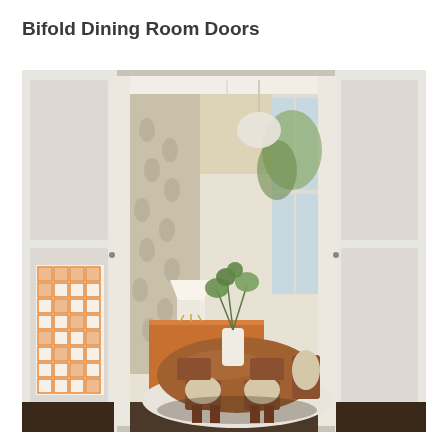Bifold Dining Room Doors
[Figure (photo): Interior photograph showing white bifold/french doors open to reveal a mid-century modern dining room with a wood oval table, upholstered chairs, wood sideboard with lamp, patterned curtains, pendant light, and a vase with greenery. Orange geometric artwork visible on the left wall.]